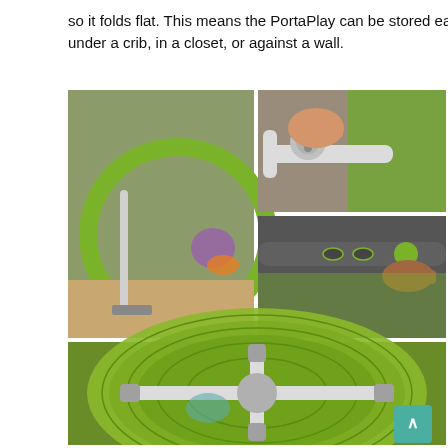so it folds flat. This means the PortaPlay can be stored easily under a crib, in a closet, or against a wall.
[Figure (photo): Collage of four photos showing a PortaPlay baby activity center: top-left shows the folded green circular base with legs folded, top-right-top shows a hand pressing a button/latch mechanism on the white frame, top-right-bottom shows a hand pressing a green button on the frame rail, bottom shows a top-down view of the folded PortaPlay with white cross-shaped legs folded flat over the green circular base with a baby visible underneath.]